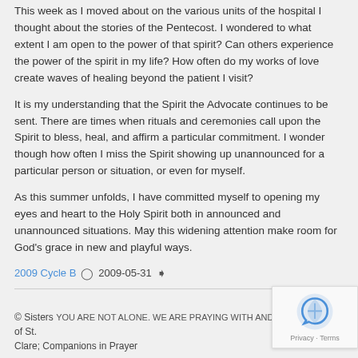This week as I moved about on the various units of the hospital I thought about the stories of the Pentecost. I wondered to what extent I am open to the power of that spirit? Can others experience the power of the spirit in my life? How often do my works of love create waves of healing beyond the patient I visit?
It is my understanding that the Spirit the Advocate continues to be sent. There are times when rituals and ceremonies call upon the Spirit to bless, heal, and affirm a particular commitment. I wonder though how often I miss the Spirit showing up unannounced for a particular person or situation, or even for myself.
As this summer unfolds, I have committed myself to opening my eyes and heart to the Holy Spirit both in announced and unannounced situations. May this widening attention make room for God's grace in new and playful ways.
2009 Cycle B  2009-05-31
© Sisters YOU ARE NOT ALONE. WE ARE PRAYING WITH AND FOR YOU. Congregation of St. Clare; Companions in Prayer